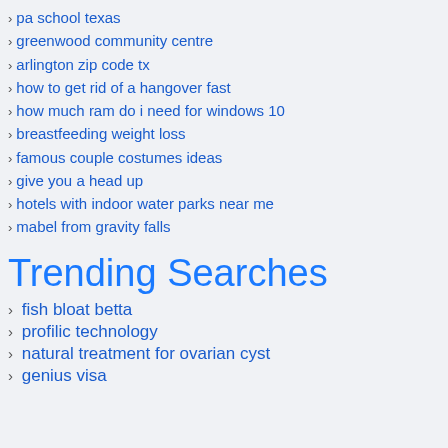pa school texas
greenwood community centre
arlington zip code tx
how to get rid of a hangover fast
how much ram do i need for windows 10
breastfeeding weight loss
famous couple costumes ideas
give you a head up
hotels with indoor water parks near me
mabel from gravity falls
Trending Searches
fish bloat betta
profilic technology
natural treatment for ovarian cyst
genius visa